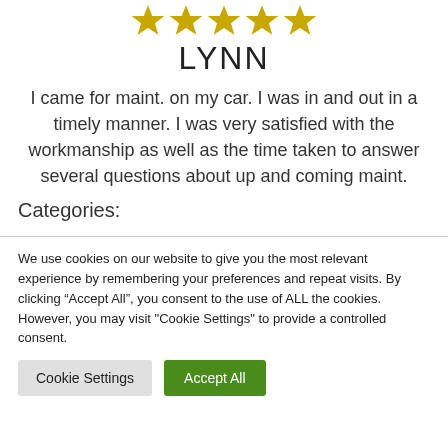[Figure (other): Five gold star rating icons displayed in a row]
LYNN
I came for maint. on my car. I was in and out in a timely manner. I was very satisfied with the workmanship as well as the time taken to answer several questions about up and coming maint.
Categories:
We use cookies on our website to give you the most relevant experience by remembering your preferences and repeat visits. By clicking “Accept All”, you consent to the use of ALL the cookies. However, you may visit "Cookie Settings" to provide a controlled consent.